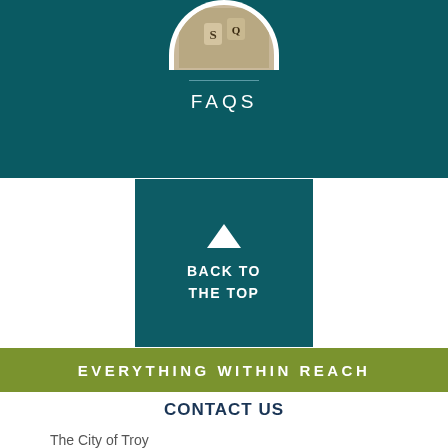[Figure (photo): Partial circular photo showing wooden letter tiles, partially visible at the top of the page within a teal background section]
FAQS
[Figure (infographic): Teal square button with upward-pointing triangle arrow icon and text BACK TO THE TOP]
EVERYTHING WITHIN REACH
CONTACT US
The City of Troy
116 E Market Street
Troy, IL 62294